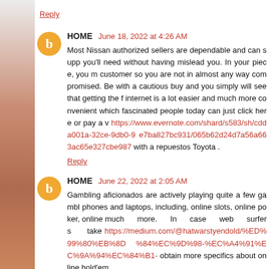Reply
HOME  June 18, 2022 at 4:26 AM
Most Nissan authorized sellers are dependable and can supp you'll need without having mislead you. In your piece, you m customer so you are not in almost any way compromised. Be with a cautious buy and you simply will see that getting the f internet is a lot easier and much more convenient which fascinated people today can just click here or pay a v https://www.evernote.com/shard/s583/sh/cdda001a-32ce-9db0-9 e7ba827bc931/065b62d24d7a56a663ac65e327cbe987 with a repuestos Toyota .
Reply
HOME  June 22, 2022 at 2:05 AM
Gambling aficionados are actively playing quite a few gambl phones and laptops, including, online slots, online poker, online much more. In case web surfers take https://medium.com/@hatwarstyendold/%ED%99%80%EB%8D %84%EC%9D%98-%EC%A4%91EC%9A%94%EC%84%B1- obtain more specifics about online hold'em.